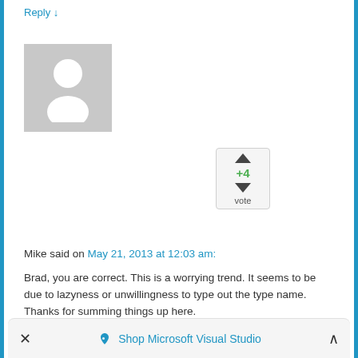Reply ↓
[Figure (photo): Grey placeholder avatar silhouette]
[Figure (infographic): Vote widget showing +4 with up and down arrows and 'vote' label]
Mike said on May 21, 2013 at 12:03 am:
Brad, you are correct. This is a worrying trend. It seems to be due to lazyness or unwillingness to type out the type name. Thanks for summing things up here.
Reply ↓
[Figure (photo): Partial photo of a person's face at the bottom]
Shop Microsoft Visual Studio